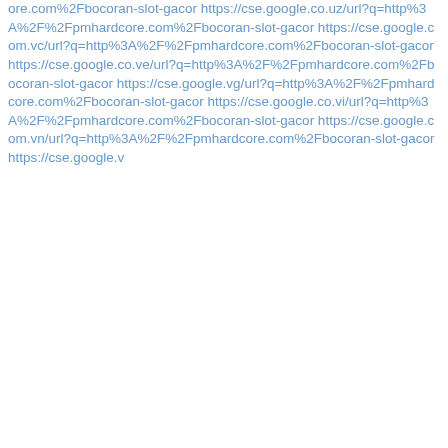ore.com%2Fbocoran-slot-gacor https://cse.google.co.uz/url?q=http%3A%2F%2Fpmhardcore.com%2Fbocoran-slot-gacor https://cse.google.com.vc/url?q=http%3A%2F%2Fpmhardcore.com%2Fbocoran-slot-gacor https://cse.google.co.ve/url?q=http%3A%2F%2Fpmhardcore.com%2Fbocoran-slot-gacor https://cse.google.vg/url?q=http%3A%2F%2Fpmhardcore.com%2Fbocoran-slot-gacor https://cse.google.co.vi/url?q=http%3A%2F%2Fpmhardcore.com%2Fbocoran-slot-gacor https://cse.google.com.vn/url?q=http%3A%2F%2Fpmhardcore.com%2Fbocoran-slot-gacor https://cse.google.v